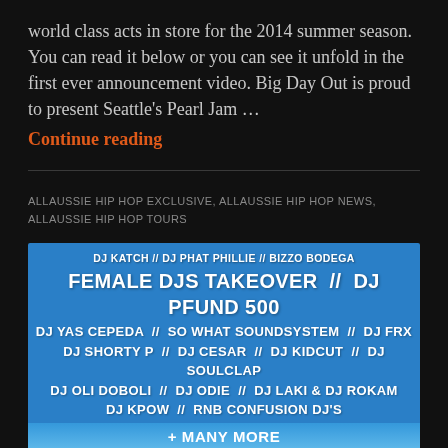world class acts in store for the 2014 summer season. You can read it below or you can see it unfold in the first ever announcement video. Big Day Out is proud to present Seattle's Pearl Jam …
Continue reading
ALLAUSSIE HIP HOP EXCLUSIVE, ALLAUSSIE HIP HOP NEWS, ALLAUSSIE HIP HOP TOURS
[Figure (infographic): Blue festival poster showing DJ lineup including: DJ KATCH // DJ PHAT PHILLIE // BIZZO BODEGA, FEMALE DJS TAKEOVER // DJ PFUND 500, DJ YAS CEPEDA // SO WHAT SOUNDSYSTEM // DJ FRX, DJ SHORTY P // DJ CESAR // DJ KIDCUT // DJ SOULCLAP, DJ OLI DOBOLI // DJ ODIE // DJ LAKI & DJ ROKAM, DJ KPOW // RNB CONFUSION DJ'S, + MANY MORE, STAY TUNED FOR MORE INFO @ WWW.FRESH-ISLAND.ORG]